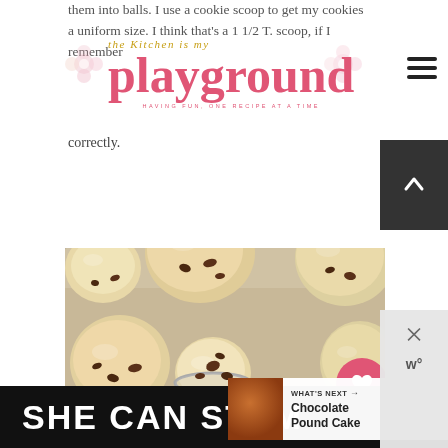The Kitchen is my Playground — HAVING FUN, ONE RECIPE AT A TIME
them into balls. I use a cookie scoop to get my cookies a uniform size. I think that's a 1 1/2 T. scoop, if I remember correctly.
[Figure (photo): Cookie dough balls on a baking sheet, with a cookie scoop in the foreground holding a scoop of dough. Several dough balls are visible showing chocolate chips embedded in the pale dough.]
WHAT'S NEXT → Chocolate Pound Cake
SHE CAN STEM